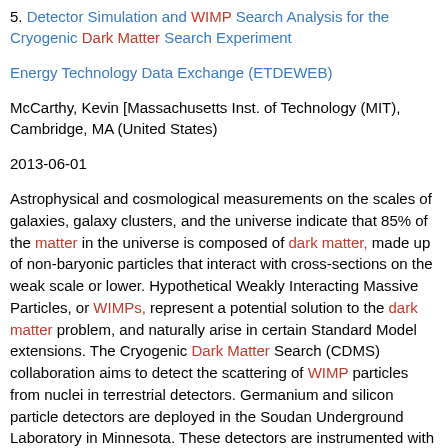5. Detector Simulation and WIMP Search Analysis for the Cryogenic Dark Matter Search Experiment
Energy Technology Data Exchange (ETDEWEB)
McCarthy, Kevin [Massachusetts Inst. of Technology (MIT), Cambridge, MA (United States)
2013-06-01
Astrophysical and cosmological measurements on the scales of galaxies, galaxy clusters, and the universe indicate that 85% of the matter in the universe is composed of dark matter, made up of non-baryonic particles that interact with cross-sections on the weak scale or lower. Hypothetical Weakly Interacting Massive Particles, or WIMPs, represent a potential solution to the dark matter problem, and naturally arise in certain Standard Model extensions. The Cryogenic Dark Matter Search (CDMS) collaboration aims to detect the scattering of WIMP particles from nuclei in terrestrial detectors. Germanium and silicon particle detectors are deployed in the Soudan Underground Laboratory in Minnesota. These detectors are instrumented with phonon and ionization sensors, which allows for discrimination against electromagnetic backgrounds, which strike the detector